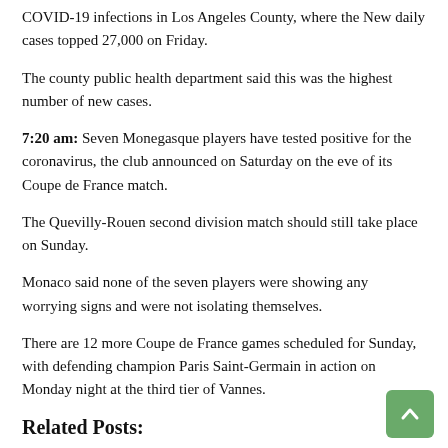COVID-19 infections in Los Angeles County, where the New daily cases topped 27,000 on Friday.
The county public health department said this was the highest number of new cases.
7:20 am: Seven Monegasque players have tested positive for the coronavirus, the club announced on Saturday on the eve of its Coupe de France match.
The Quevilly-Rouen second division match should still take place on Sunday.
Monaco said none of the seven players were showing any worrying signs and were not isolating themselves.
There are 12 more Coupe de France games scheduled for Sunday, with defending champion Paris Saint-Germain in action on Monday night at the third tier of Vannes.
Related Posts: